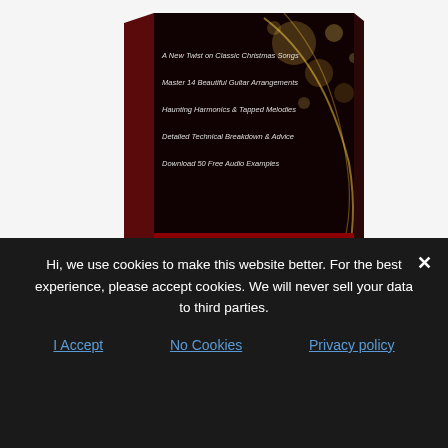[Figure (illustration): Book cover for Christmas Carols for Advanced Acoustic Guitar by Daryl Kellie. Dark red/maroon book with golden bokeh lights, text listing: A New Twist on Classic Christmas Songs, Master 14 Beautiful Guitar Arrangements, Haunting Harmonics & Tapped Melodies, Detailed Technical Breakdown & Advice, Download 50 Free Audio Examples. Author name DARYL KELLIE on spine and back.]
Christmas Carols for Advanced Acoustic Guitar
$19.99
Hi, we use cookies to make this website better. For the best experience, please accept cookies. We will never sell your data to third parties.
I Accept
No Cookies
Privacy policy